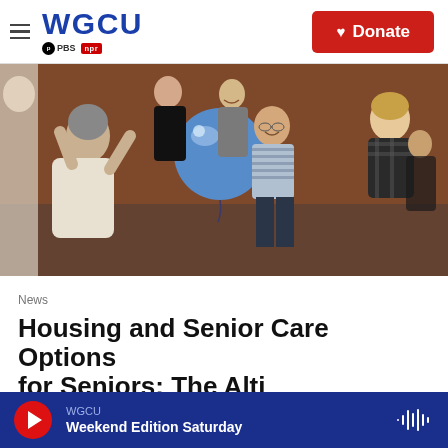WGCU PBS NPR | Donate
[Figure (photo): Elderly and younger people playing with a blue balloon in a senior care facility. A seated elderly woman with curly gray hair reaches toward a large blue balloon, while a smiling elderly man in a striped shirt and other people stand in the background.]
News
Housing and Senior Care Options for Seniors: The Alti...
WGCU | Weekend Edition Saturday